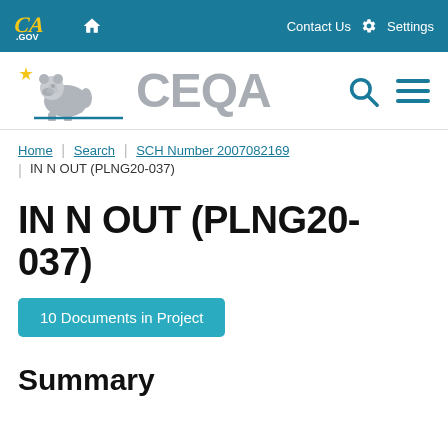CA.GOV | Home | Contact Us | Settings
[Figure (logo): CEQA California bear logo with star and CEQA text in gray, with search and menu icons]
Home | Search | SCH Number 2007082169 | IN N OUT (PLNG20-037)
IN N OUT (PLNG20-037)
10 Documents in Project
Summary